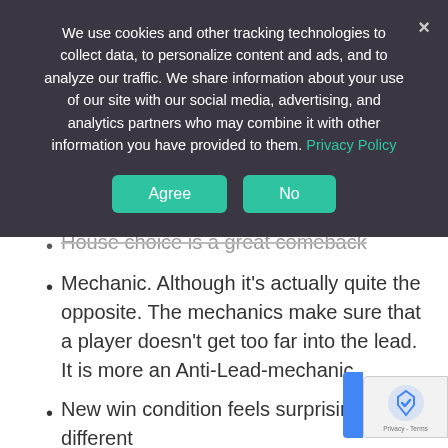We use cookies and other tracking technologies to collect data, to personalize content and ads, and to analyze our traffic. We share information about your use of our site with our social media, advertising, and analytics partners who may combine it with other information you have provided to them. Privacy Policy
[Figure (screenshot): Cookie consent banner with Agree and No buttons on dark background, with close (×) button]
House choice is a great comeback Mechanic. Although it's actually quite the opposite. The mechanics make sure that a player doesn't get too far into the lead. It is more an Anti-Lead-mechanic.
New win condition feels surprisingly different
Fast gameplay & little downtime. Since you can hardly interact in your opponent's move, you can plan your own move with half your attention.